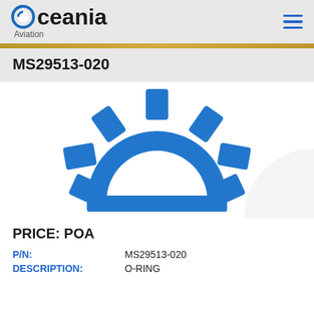Oceania Aviation
MS29513-020
[Figure (logo): Blue half-gear / cog icon used as product placeholder image for Oceania Aviation]
PRICE: POA
P/N: MS29513-020
DESCRIPTION: O-RING